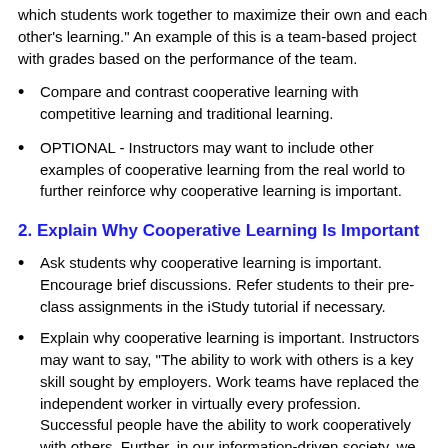which students work together to maximize their own and each other's learning." An example of this is a team-based project with grades based on the performance of the team.
Compare and contrast cooperative learning with competitive learning and traditional learning.
OPTIONAL - Instructors may want to include other examples of cooperative learning from the real world to further reinforce why cooperative learning is important.
2. Explain Why Cooperative Learning Is Important
Ask students why cooperative learning is important. Encourage brief discussions. Refer students to their pre-class assignments in the iStudy tutorial if necessary.
Explain why cooperative learning is important. Instructors may want to say, "The ability to work with others is a key skill sought by employers. Work teams have replaced the independent worker in virtually every profession. Successful people have the ability to work cooperatively with others. Further, in our information-driven society, we need each other to synthesize knowledge from a variety of sources to help us achieve our goals."